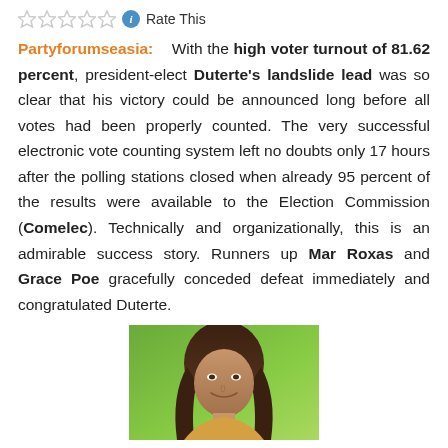Rate This
Partyforumseasia: With the high voter turnout of 81.62 percent, president-elect Duterte's landslide lead was so clear that his victory could be announced long before all votes had been properly counted. The very successful electronic vote counting system left no doubts only 17 hours after the polling stations closed when already 95 percent of the results were available to the Election Commission (Comelec). Technically and organizationally, this is an admirable success story. Runners up Mar Roxas and Grace Poe gracefully conceded defeat immediately and congratulated Duterte.
[Figure (photo): Photo of a smiling woman with long dark hair against a green background, cropped at bottom of page]